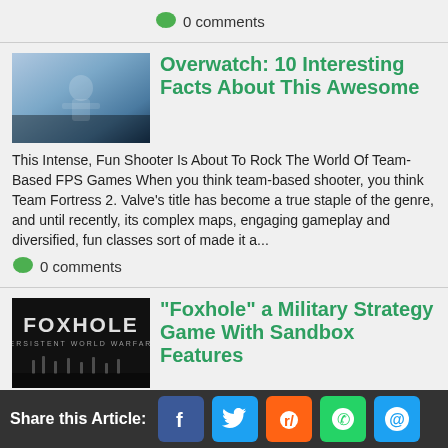0 comments
[Figure (screenshot): Overwatch game screenshot thumbnail]
Overwatch: 10 Interesting Facts About This Awesome
This Intense, Fun Shooter Is About To Rock The World Of Team-Based FPS Games When you think team-based shooter, you think Team Fortress 2. Valve's title has become a true staple of the genre, and until recently, its complex maps, engaging gameplay and diversified, fun classes sort of made it a...
0 comments
[Figure (screenshot): Foxhole game logo and banner thumbnail]
"Foxhole" a Military Strategy Game With Sandbox Features
Foxhole is a massively multiplayer war game by Clapfoot studios with "emergent" gameplay and unique sandbox features, it was released on July 27th 2017. A
Share this Article: